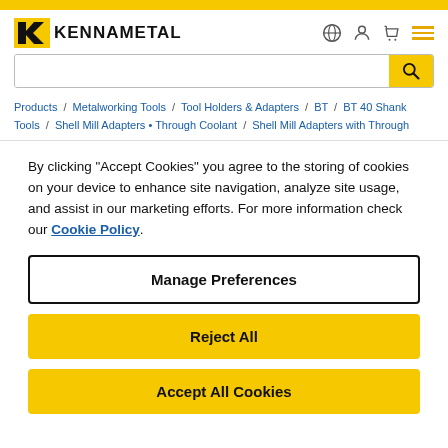[Figure (logo): Kennametal logo with yellow K symbol and KENNAMETAL text]
By clicking "Accept Cookies" you agree to the storing of cookies on your device to enhance site navigation, analyze site usage, and assist in our marketing efforts. For more information check our Cookie Policy.
Manage Preferences
Reject All
Accept All Cookies